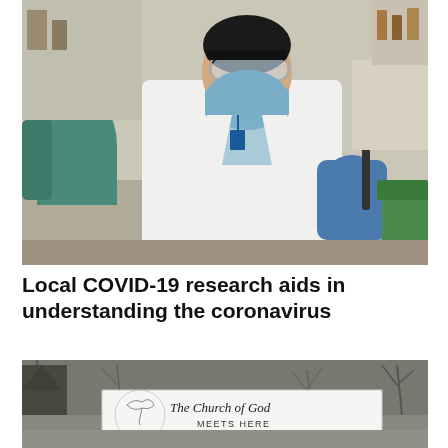[Figure (photo): A scientist or researcher in a white lab coat, blue face mask, safety goggles, and blue nitrile gloves, working in a laboratory setting while holding a pipette or lab instrument. Lab equipment visible in the background.]
Local COVID-19 research aids in understanding the coronavirus
[Figure (photo): A sign reading 'The Church of God MEETS HERE' with 'Go ye into all the...' partially visible at the bottom, surrounded by bare winter trees in a black and white or desaturated photograph.]